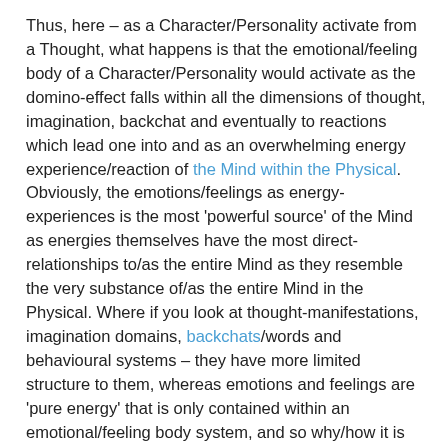Thus, here – as a Character/Personality activate from a Thought, what happens is that the emotional/feeling body of a Character/Personality would activate as the domino-effect falls within all the dimensions of thought, imagination, backchat and eventually to reactions which lead one into and as an overwhelming energy experience/reaction of the Mind within the Physical. Obviously, the emotions/feelings as energy-experiences is the most 'powerful source' of the Mind as energies themselves have the most direct-relationships to/as the entire Mind as they resemble the very substance of/as the entire Mind in the Physical. Where if you look at thought-manifestations, imagination domains, backchats/words and behavioural systems – they have more limited structure to them, whereas emotions and feelings are 'pure energy' that is only contained within an emotional/feeling body system, and so why/how it is that emotions/feelings or energy experiences are most 'powerful/challenging' to face within one's process from the Mind to the Physical.
For, example with having a look at the Postponement Character, the process of re-ownership and Responsibility...